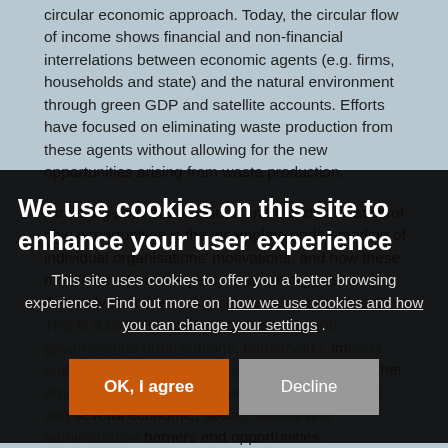circular economic approach. Today, the circular flow of income shows financial and non-financial interrelations between economic agents (e.g. firms, households and state) and the natural environment through green GDP and satellite accounts. Efforts have focused on eliminating waste production from these agents without allowing for the new opportunities arising from waste production.
Hindering both this transition and the identification of new opportunities is the incomplete understanding of individual organisations' motivations, and how these motivations from the perspective of organisations themselves fit the ecological opportunities available. This is a complex exploration because non-governmental organisations, households, and firms, including SMEs, understand innovation in different ways from other organisations (e.g. governments and universities) and there are several economic, social, cultural and administrative barriers and opportunities.
This Symposium provides an opportunity for those interested in any level of circular economy and sustainability applications, from individual businesses
We use cookies on this site to enhance your user experience
This site uses cookies to offer you a better browsing experience. Find out more on how we use cookies and how you can change your settings .